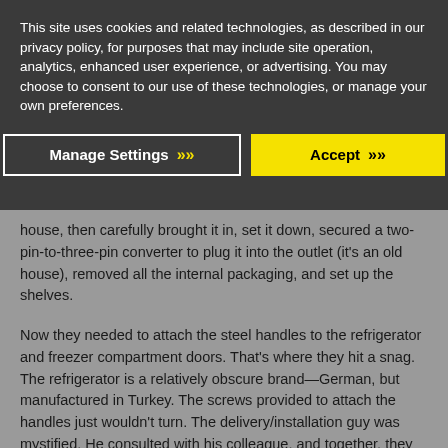This site uses cookies and related technologies, as described in our privacy policy, for purposes that may include site operation, analytics, enhanced user experience, or advertising. You may choose to consent to our use of these technologies, or manage your own preferences.
Manage Settings >> | Accept >>
house, then carefully brought it in, set it down, secured a two-pin-to-three-pin converter to plug it into the outlet (it's an old house), removed all the internal packaging, and set up the shelves.
Now they needed to attach the steel handles to the refrigerator and freezer compartment doors. That's where they hit a snag. The refrigerator is a relatively obscure brand—German, but manufactured in Turkey. The screws provided to attach the handles just wouldn't turn. The delivery/installation guy was mystified. He consulted with his colleague, and together, they puzzled over the screw head and scanned the installation instructions. Then the delivery/installation guy